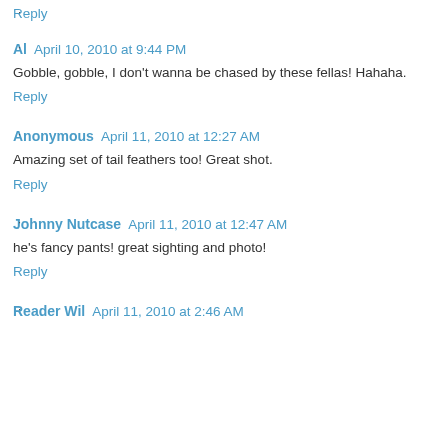Reply
Al  April 10, 2010 at 9:44 PM
Gobble, gobble, I don't wanna be chased by these fellas! Hahaha.
Reply
Anonymous  April 11, 2010 at 12:27 AM
Amazing set of tail feathers too! Great shot.
Reply
Johnny Nutcase  April 11, 2010 at 12:47 AM
he's fancy pants! great sighting and photo!
Reply
Reader Wil  April 11, 2010 at 2:46 AM